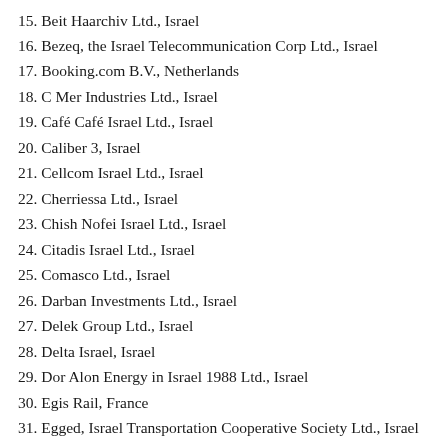15. Beit Haarchiv Ltd., Israel
16. Bezeq, the Israel Telecommunication Corp Ltd., Israel
17. Booking.com B.V., Netherlands
18. C Mer Industries Ltd., Israel
19. Café Café Israel Ltd., Israel
20. Caliber 3, Israel
21. Cellcom Israel Ltd., Israel
22. Cherriessa Ltd., Israel
23. Chish Nofei Israel Ltd., Israel
24. Citadis Israel Ltd., Israel
25. Comasco Ltd., Israel
26. Darban Investments Ltd., Israel
27. Delek Group Ltd., Israel
28. Delta Israel, Israel
29. Dor Alon Energy in Israel 1988 Ltd., Israel
30. Egis Rail, France
31. Egged, Israel Transportation Cooperative Society Ltd., Israel
32. Energix Renewable Energies Ltd., Israel